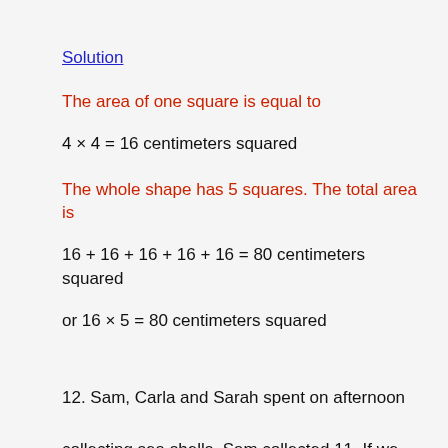Solution
The area of one square is equal to
4 × 4 = 16 centimeters squared
The whole shape has 5 squares. The total area is
16 + 16 + 16 + 16 + 16 = 80 centimeters squared
or 16 × 5 = 80 centimeters squared
12. Sam, Carla and Sarah spent on afternoon collecting sea shells. Sam collected 11. If we add the number of sea shells collected by Sam and